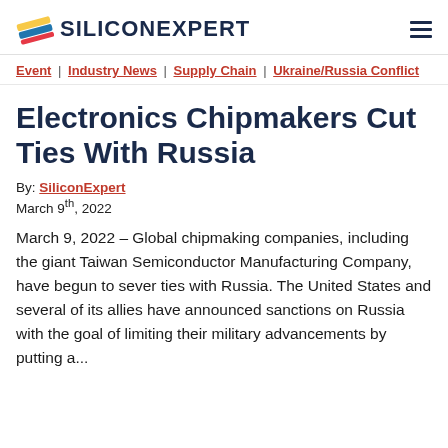SiliconExpert
Event | Industry News | Supply Chain | Ukraine/Russia Conflict
Electronics Chipmakers Cut Ties With Russia
By: SiliconExpert
March 9th, 2022
March 9, 2022 – Global chipmaking companies, including the giant Taiwan Semiconductor Manufacturing Company, have begun to sever ties with Russia. The United States and several of its allies have announced sanctions on Russia with the goal of limiting their military advancements by putting a...